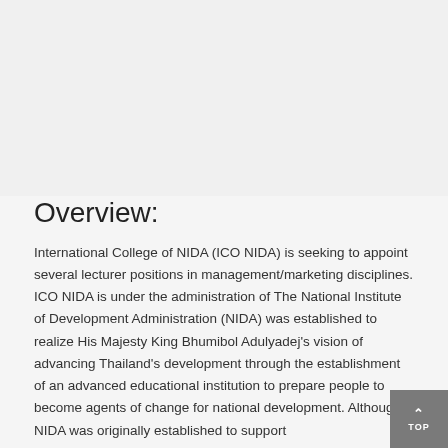Overview:
International College of NIDA (ICO NIDA) is seeking to appoint several lecturer positions in management/marketing disciplines. ICO NIDA is under the administration of The National Institute of Development Administration (NIDA) was established to realize His Majesty King Bhumibol Adulyadej's vision of advancing Thailand's development through the establishment of an advanced educational institution to prepare people to become agents of change for national development. Although NIDA was originally established to support